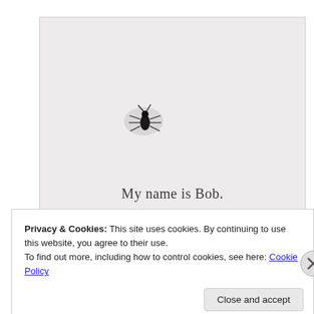[Figure (photo): A small black insect (bug) photographed against a light gray/white background, with text below reading 'My name is Bob.' — appears to be a page from a children's book or blog post about a bug named Bob.]
Privacy & Cookies: This site uses cookies. By continuing to use this website, you agree to their use.
To find out more, including how to control cookies, see here: Cookie Policy